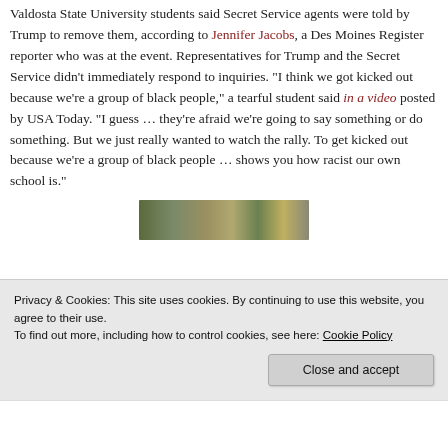Valdosta State University students said Secret Service agents were told by Trump to remove them, according to Jennifer Jacobs, a Des Moines Register reporter who was at the event. Representatives for Trump and the Secret Service didn't immediately respond to inquiries. "I think we got kicked out because we're a group of black people," a tearful student said in a video posted by USA Today. "I guess … they're afraid we're going to say something or do something. But we just really wanted to watch the rally. To get kicked out because we're a group of black people … shows you how racist our own school is."
[Figure (photo): Partial image strip showing a crowd scene, likely from a video or news photograph]
Privacy & Cookies: This site uses cookies. By continuing to use this website, you agree to their use. To find out more, including how to control cookies, see here: Cookie Policy
Close and accept